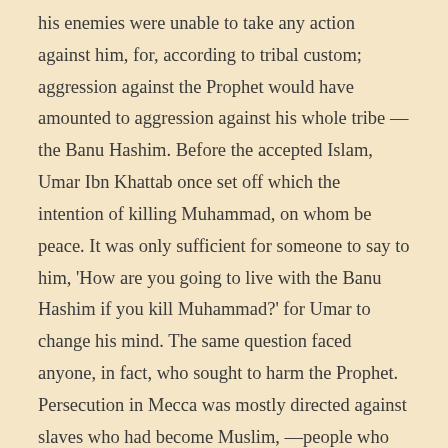his enemies were unable to take any action against him, for, according to tribal custom; aggression against the Prophet would have amounted to aggression against his whole tribe —the Banu Hashim. Before the accepted Islam, Umar Ibn Khattab once set off which the intention of killing Muhammad, on whom be peace. It was only sufficient for someone to say to him, 'How are you going to live with the Banu Hashim if you kill Muhammad?' for Umar to change his mind. The same question faced anyone, in fact, who sought to harm the Prophet. Persecution in Mecca was mostly directed against slaves who had become Muslim, —people who had no tribe